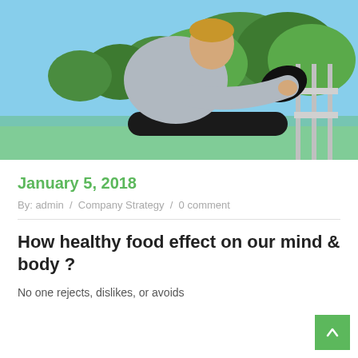[Figure (photo): A woman in a grey hoodie and black leggings stretching her leg on a railing outdoors at a sports court, with trees and blue sky in the background.]
January 5, 2018
By: admin / Company Strategy / 0 comment
How healthy food effect on our mind & body ?
No one rejects, dislikes, or avoids